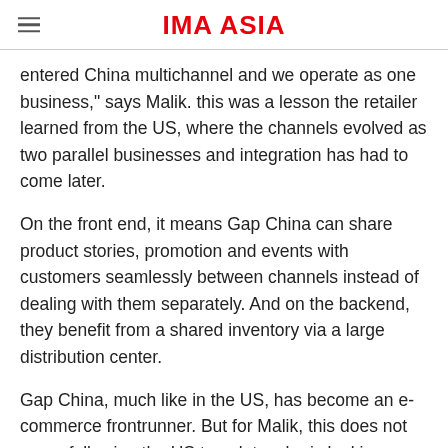IMA ASIA
entered China multichannel and we operate as one business," says Malik. this was a lesson the retailer learned from the US, where the channels evolved as two parallel businesses and integration has had to come later.
On the front end, it means Gap China can share product stories, promotion and events with customers seamlessly between channels instead of dealing with them separately. And on the backend, they benefit from a shared inventory via a large distribution center.
Gap China, much like in the US, has become an e-commerce frontrunner. But for Malik, this does not mean following the US template; she is looking keenly at what to take from headquarters and what to adapt